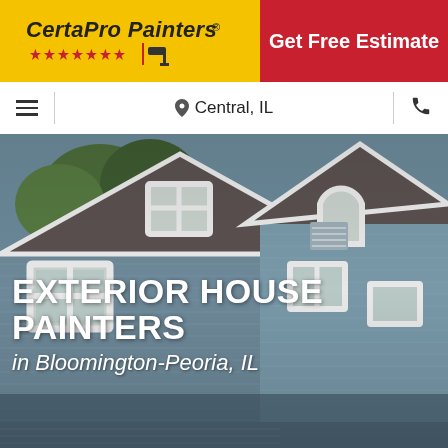[Figure (logo): CertaPro Painters logo on yellow background with red stars and painter tool icon]
Get Free Estimate
≡  Central, IL  📞
[Figure (photo): Exterior photo of a blue-grey house with gabled roofs and white trim, trees visible in background]
EXTERIOR HOUSE PAINTERS
in Bloomington-Peoria, IL